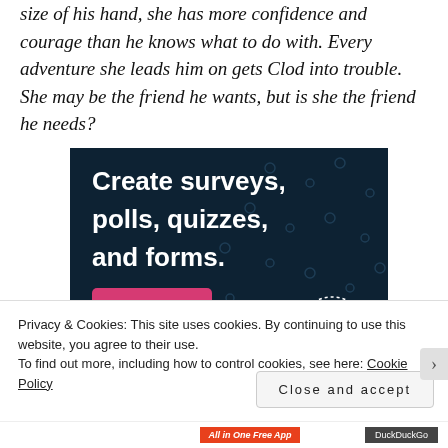size of his hand, she has more confidence and courage than he knows what to do with. Every adventure she leads him on gets Clod into trouble. She may be the friend he wants, but is she the friend he needs?
[Figure (screenshot): Advertisement banner with dark navy background showing text 'Create surveys, polls, quizzes, and forms.' with a pink 'Start now' button and a circular CROWD logo in the bottom right corner with decorative dots throughout.]
Privacy & Cookies: This site uses cookies. By continuing to use this website, you agree to their use.
To find out more, including how to control cookies, see here: Cookie Policy